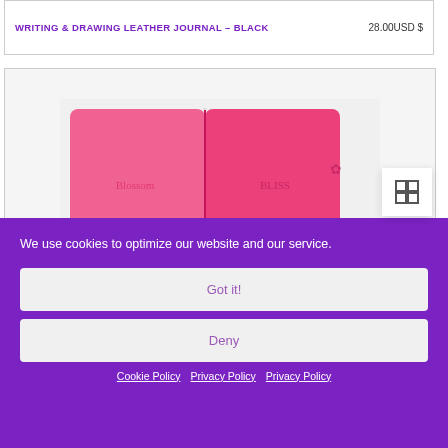WRITING & DRAWING LEATHER JOURNAL – BLACK 28.00USD $
[Figure (photo): Pink leather journal / product image with 'BlossomBLISS' branding, shown in a light gray card container]
We use cookies to optimize our website and our service.
Got it!
Deny
Cookie Policy   Privacy Policy   Privacy Policy